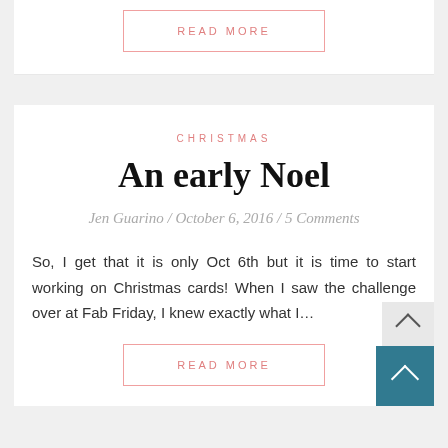READ MORE
CHRISTMAS
An early Noel
Jen Guarino / October 6, 2016 / 5 Comments
So, I get that it is only Oct 6th but it is time to start working on Christmas cards! When I saw the challenge over at Fab Friday, I knew exactly what I...
READ MORE